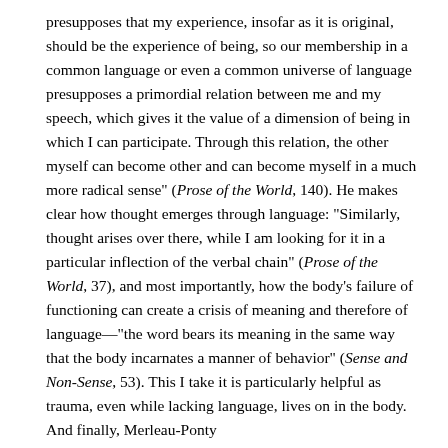presupposes that my experience, insofar as it is original, should be the experience of being, so our membership in a common language or even a common universe of language presupposes a primordial relation between me and my speech, which gives it the value of a dimension of being in which I can participate. Through this relation, the other myself can become other and can become myself in a much more radical sense" (Prose of the World, 140). He makes clear how thought emerges through language: "Similarly, thought arises over there, while I am looking for it in a particular inflection of the verbal chain" (Prose of the World, 37), and most importantly, how the body's failure of functioning can create a crisis of meaning and therefore of language—"the word bears its meaning in the same way that the body incarnates a manner of behavior" (Sense and Non-Sense, 53). This I take it is particularly helpful as trauma, even while lacking language, lives on in the body. And finally, Merleau-Ponty